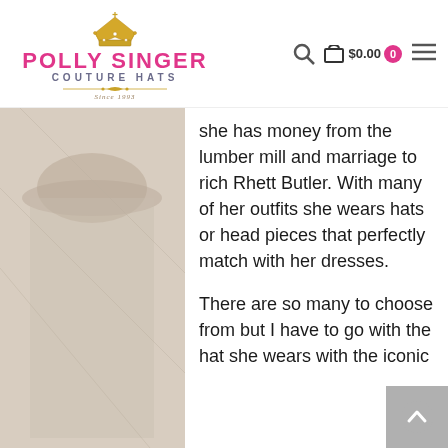[Figure (logo): Polly Singer Couture Hats logo with gold crown icon, pink brand name text, gray subtitle, gold decorative line, and italic 'Since 1993' text]
🔍  🛒 $0.00  0  ☰
[Figure (photo): Left-side partial photo panel showing a figure wearing an elaborate hat, muted brown/beige tones, partially cropped]
she has money from the lumber mill and marriage to rich Rhett Butler. With many of her outfits she wears hats or head pieces that perfectly match with her dresses.
There are so many to choose from but I have to go with the hat she wears with the iconic